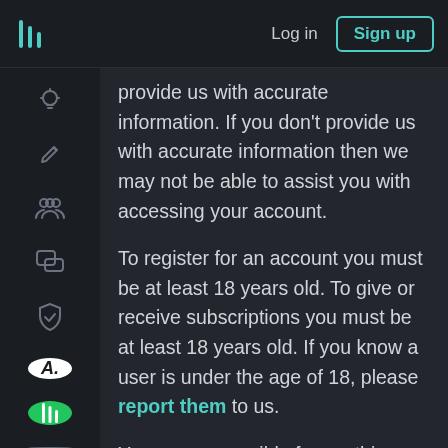Log in  Sign up
provide us with accurate information. If you don't provide us with accurate information then we may not be able to assist you with accessing your account.
To register for an account you must be at least 18 years old. To give or receive subscriptions you must be at least 18 years old. If you know a user is under the age of 18, please report them to us.
You are responsible for anything that occurs when anyone is signed in to your account, as well as the security of the account. If you believe your account is compromised, you must contact us immediately.